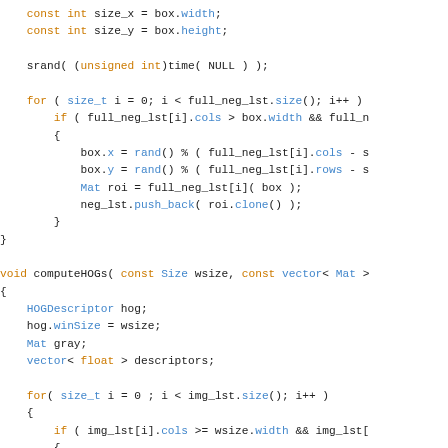C++ code snippet showing computeHOGs function and surrounding loop logic with OpenCV Mat, HOGDescriptor, and Rect operations